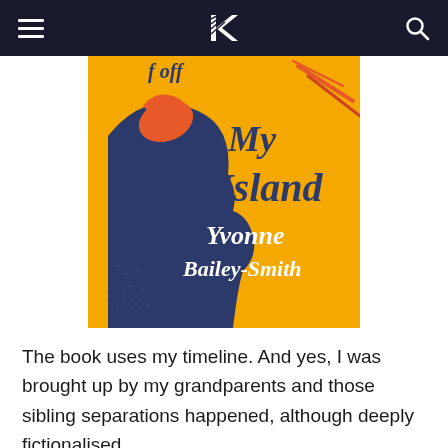Navigation bar with hamburger menu, logo, and search icon
[Figure (illustration): Book cover for 'My Island' by Yvonne Bailey-Smith. Yellow background with a dark blue silhouette of a person's profile facing right with orange hair. Title 'My Island' in dark blue handwritten-style font, author name 'Yvonne Bailey-Smith' in white handwritten-style font. Partial text visible at top reading 'f off'.]
The book uses my timeline. And yes, I was brought up by my grandparents and those sibling separations happened, although deeply fictionalised.